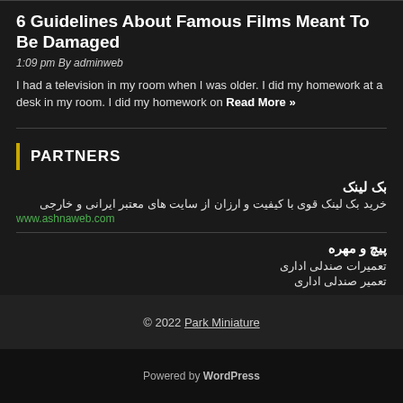6 Guidelines About Famous Films Meant To Be Damaged
1:09 pm By adminweb
I had a television in my room when I was older. I did my homework at a desk in my room. I did my homework on Read More »
PARTNERS
بک لینک
خرید بک لینک قوی با کیفیت و ارزان از سایت های معتبر ایرانی و خارجی
www.ashnaweb.com
پیچ و مهره
تعمیرات صندلی اداری
تعمیر صندلی اداری
© 2022 Park Miniature
Powered by WordPress